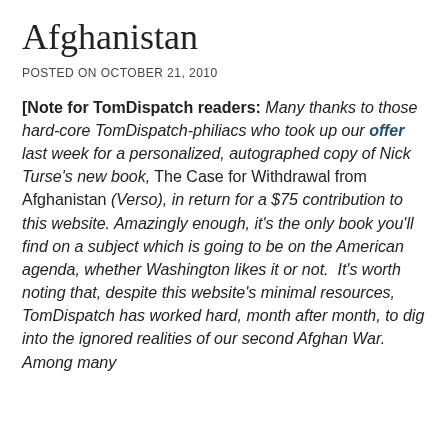Afghanistan
POSTED ON OCTOBER 21, 2010
[Note for TomDispatch readers: Many thanks to those hard-core TomDispatch-philiacs who took up our offer last week for a personalized, autographed copy of Nick Turse's new book, The Case for Withdrawal from Afghanistan (Verso), in return for a $75 contribution to this website. Amazingly enough, it's the only book you'll find on a subject which is going to be on the American agenda, whether Washington likes it or not. It's worth noting that, despite this website's minimal resources, TomDispatch has worked hard, month after month, to dig into the ignored realities of our second Afghan War. Among many